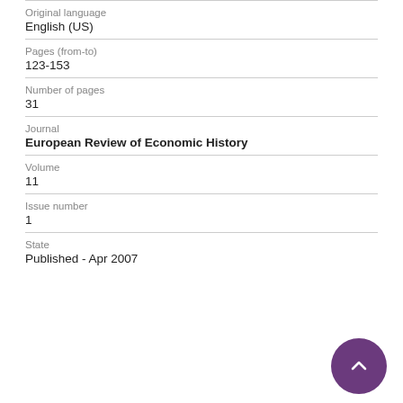Original language
English (US)
Pages (from-to)
123-153
Number of pages
31
Journal
European Review of Economic History
Volume
11
Issue number
1
State
Published - Apr 2007